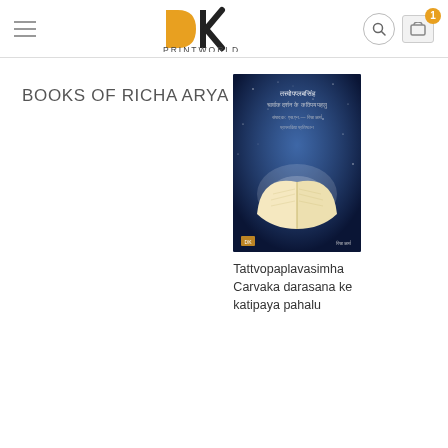DK PRINTWORLD
BOOKS OF RICHA ARYA
[Figure (photo): Book cover of Tattvopaplavasimha Carvaka darasana ke katipaya pahalu, showing an open book glowing with light against a dark blue starry background.]
Tattvopaplavasimha Carvaka darasana ke katipaya pahalu